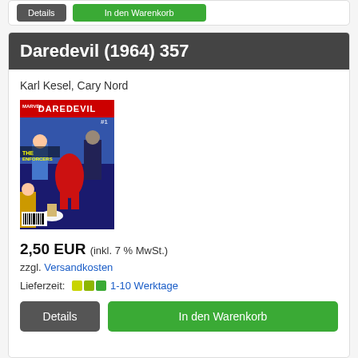[Figure (screenshot): Top partial card with a gray Details button and green In den Warenkorb button]
Daredevil (1964) 357
Karl Kesel, Cary Nord
[Figure (photo): Daredevil (1964) issue 357 comic book cover showing Daredevil in red costume with The Enforcers]
2,50 EUR (inkl. 7 % MwSt.)
zzgl. Versandkosten
Lieferzeit: 1-10 Werktage
Details   In den Warenkorb